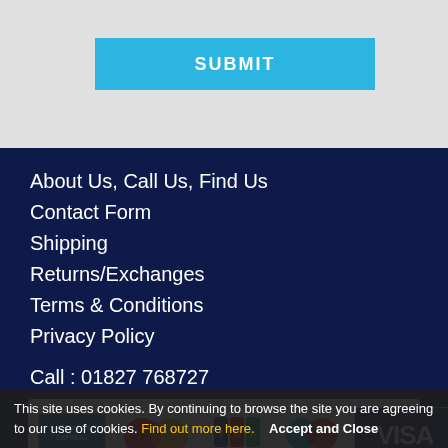[Figure (screenshot): Grey section with a cyan SUBMIT button]
About Us, Call Us, Find Us
Contact Form
Shipping
Returns/Exchanges
Terms & Conditions
Privacy Policy
Call : 01827 768727
[Figure (infographic): Payment logos: American Express, MasterCard, JCB, Maestro, VISA (blue), VISA (plain). Payments powered by WorldPay.]
This site uses cookies. By continuing to browse the site you are agreeing to our use of cookies. Find out more here.   Accept and Close